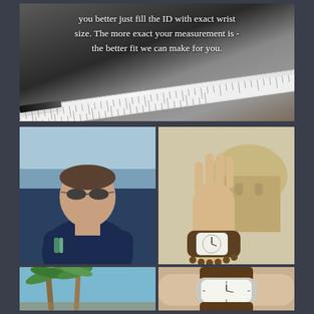[Figure (photo): Black and white photo of a ruler/measuring tape and pencil on a paper with pattern, overlaid with white italic text about measurements]
you better just fill the ID with exact wrist size. The more exact your measurement is - the better fit we can make for you.
[Figure (photo): Man wearing sunglasses and navy polo shirt with arms crossed, standing near sea with rocky background]
[Figure (photo): Raised hand wearing a wooden watch with a stone bead bracelet, with a domed baroque building in the background]
[Figure (photo): Palm trees with blue sky in background — bottom left partial image]
[Figure (photo): Close-up of a wrist wearing a minimalist watch with leather strap — bottom right partial image]